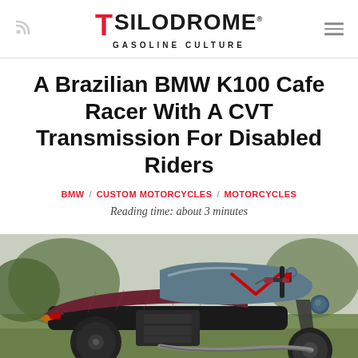SILODROME GASOLINE CULTURE
A Brazilian BMW K100 Cafe Racer With A CVT Transmission For Disabled Riders
BMW / CUSTOM MOTORCYCLES / MOTORCYCLES
Reading time: about 3 minutes
[Figure (photo): A custom BMW K100 cafe racer motorcycle with a slate blue fuel tank featuring a red V graphic, burgundy quilted leather seat with a taillight, and clip-on handlebars, photographed outdoors on grass.]